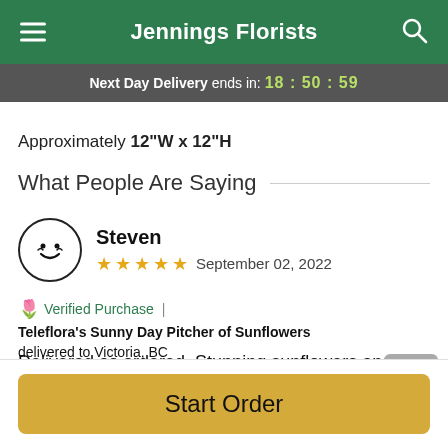Jennings Florists
Next Day Delivery ends in: 18 : 50 : 59
Approximately 12"W x 12"H
What People Are Saying
Steven
★★★★★  September 02, 2022
🌷 Verified Purchase | Teleflora's Sunny Day Pitcher of Sunflowers delivered to Victoria, BC
Delivered as ordered. Stunning sunflowers and balloon.
Start Order